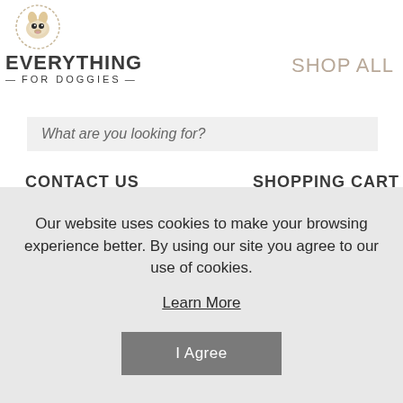[Figure (logo): Everything For Doggies logo with illustrated dog face and brand name]
SHOP ALL
[Figure (screenshot): Search input bar with placeholder text 'What are you looking for?']
CONTACT US
SHOPPING CART
Home > Dog Walking > Collars > Flat
Our website uses cookies to make your browsing experience better. By using our site you agree to our use of cookies.
Learn More
I Agree